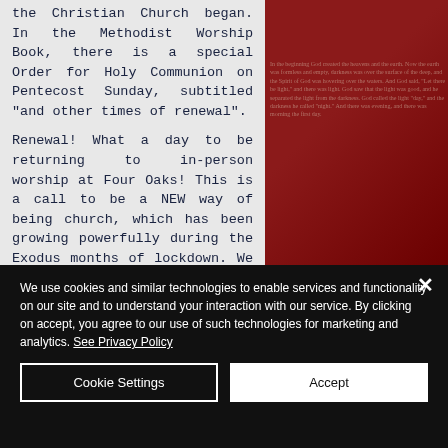the Christian Church began. In the Methodist Worship Book, there is a special Order for Holy Communion on Pentecost Sunday, subtitled "and other times of renewal".
Renewal! What a day to be returning to in-person worship at Four Oaks! This is a call to be a NEW way of being church, which has been growing powerfully during the Exodus months of lockdown. We are moving to a way of being church
[Figure (photo): Red background with faint Bible text overlay, partially visible on the right side of the page]
We use cookies and similar technologies to enable services and functionality on our site and to understand your interaction with our service. By clicking on accept, you agree to our use of such technologies for marketing and analytics. See Privacy Policy